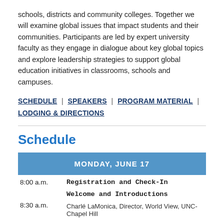schools, districts and community colleges. Together we will examine global issues that impact students and their communities. Participants are led by expert university faculty as they engage in dialogue about key global topics and explore leadership strategies to support global education initiatives in classrooms, schools and campuses.
SCHEDULE | SPEAKERS | PROGRAM MATERIAL | LODGING & DIRECTIONS
Schedule
|  | MONDAY, JUNE 17 |
| 8:00 a.m. | Registration and Check-In |
|  | Welcome and Introductions |
| 8:30 a.m. | Charlé LaMonica, Director, World View, UNC-Chapel Hill |